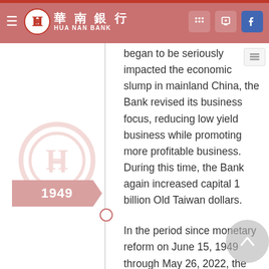華南銀行 HUA NAN BANK
began to be seriously impacted the economic slump in mainland China, the Bank revised its business focus, reducing low yield business while promoting more profitable business. During this time, the Bank again increased capital 1 billion Old Taiwan dollars.
1949
In the period since monetary reform on June 15, 1949 through May 26, 2022, the Bank increased capital a number of times to reach the present amount of NT$97,938,000,000, positioning it as one of the soundest and largest